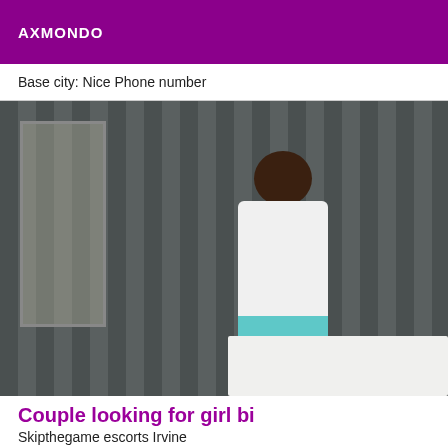AXMONDO
Base city: Nice Phone number
[Figure (photo): Person taking a mirror selfie in a bathroom, wearing a white tank top and teal shorts, with striped wallpaper in the background.]
Couple looking for girl bi
Skipthegame escorts Irvine